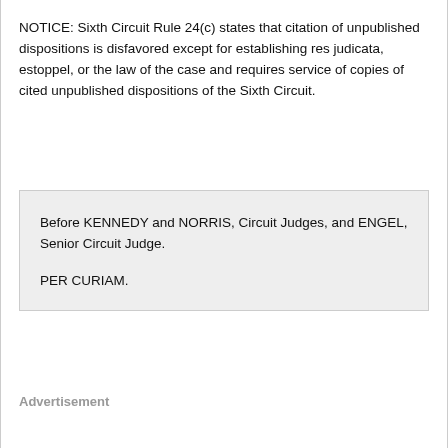NOTICE: Sixth Circuit Rule 24(c) states that citation of unpublished dispositions is disfavored except for establishing res judicata, estoppel, or the law of the case and requires service of copies of cited unpublished dispositions of the Sixth Circuit.
Before KENNEDY and NORRIS, Circuit Judges, and ENGEL, Senior Circuit Judge.

PER CURIAM.
Advertisement